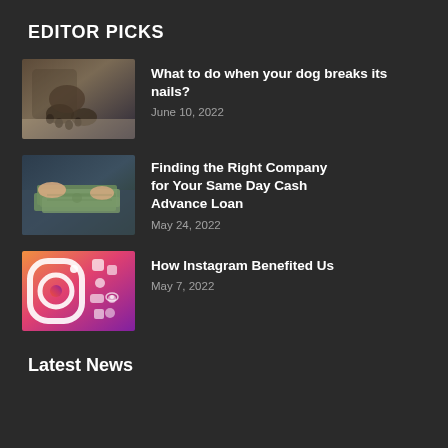EDITOR PICKS
[Figure (photo): Close-up of a dog's paws resting on a surface]
What to do when your dog breaks its nails?
June 10, 2022
[Figure (photo): Person holding a fan of US dollar bills]
Finding the Right Company for Your Same Day Cash Advance Loan
May 24, 2022
[Figure (photo): Instagram logo graphic with colorful gradient background and icons]
How Instagram Benefited Us
May 7, 2022
Latest News